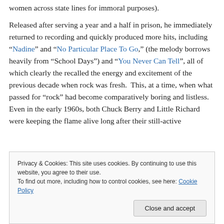women across state lines for immoral purposes).
Released after serving a year and a half in prison, he immediately returned to recording and quickly produced more hits, including “Nadine” and “No Particular Place To Go,” (the melody borrows heavily from “School Days”) and “You Never Can Tell”, all of which clearly the recalled the energy and excitement of the previous decade when rock was fresh.  This, at a time, when what passed for “rock” had become comparatively boring and listless.  Even in the early 1960s, both Chuck Berry and Little Richard were keeping the flame alive long after their still-active
Privacy & Cookies: This site uses cookies. By continuing to use this website, you agree to their use.
To find out more, including how to control cookies, see here: Cookie Policy